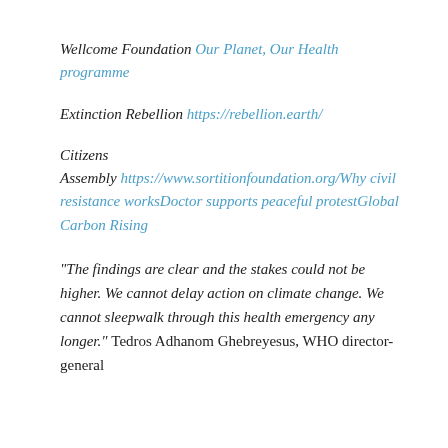Wellcome Foundation Our Planet, Our Health programme
Extinction Rebellion https://rebellion.earth/
Citizens Assembly https://www.sortitionfoundation.org/Why civil resistance worksDoctor supports peaceful protestGlobal Carbon Rising
“The findings are clear and the stakes could not be higher. We cannot delay action on climate change. We cannot sleepwalk through this health emergency any longer.” Tedros Adhanom Ghebreyesus, WHO director-general